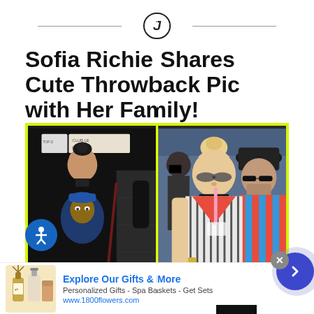J
Sofia Richie Shares Cute Throwback Pic with Her Family!
[Figure (photo): Two side-by-side celebrity paparazzi photos. Left: a young woman in a dark Snoop Dogg graphic tee with hair up, looking down, at night. Right: a blonde woman with hair in bun, wearing sunglasses and striped shirt with red collar, drinking through a straw, accompanied by a man in a hat and sunglasses.]
Explore Our Gifts & More
Personalized Gifts - Spa Baskets - Get Sets
www.1800flowers.com